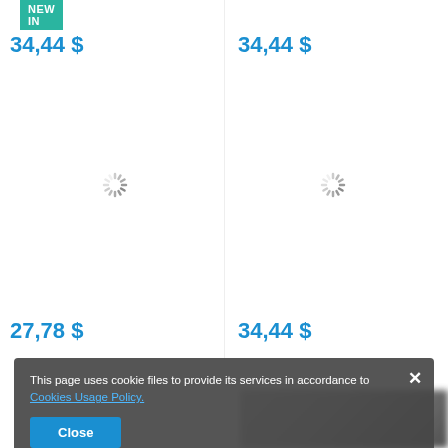[Figure (other): Green NEW IN badge top left]
34,44 $
[Figure (other): Red SOLD OUT badge top right]
34,44 $
[Figure (other): Loading spinner left]
[Figure (other): Loading spinner right]
[Figure (other): Green NEW IN badge bottom left]
27,78 $
[Figure (other): Red SOLD OUT badge bottom right]
34,44 $
This page uses cookie files to provide its services in accordance to Cookies Usage Policy.
Close